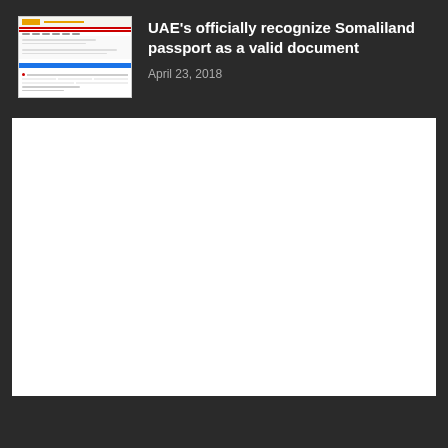[Figure (screenshot): Thumbnail screenshot of a webpage with a red header bar, navigation elements, and content rows with a blue highlighted bar]
UAE's officially recognize Somaliland passport as a valid document
April 23, 2018
[Figure (screenshot): Large white content area representing the body of an article page]